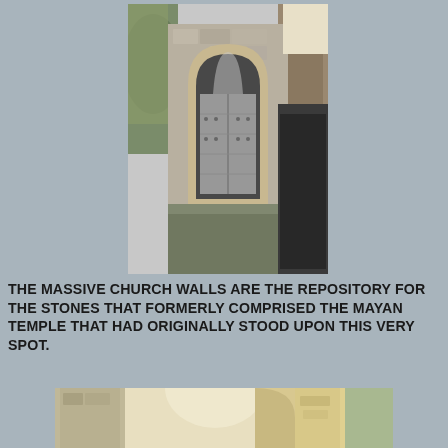[Figure (photo): A historic church doorway with a rounded arch and a large wooden door, surrounded by stone walls. Palm fronds visible on the left, rocky rubble on the right.]
THE MASSIVE CHURCH WALLS ARE THE REPOSITORY FOR THE STONES THAT FORMERLY COMPRISED THE MAYAN TEMPLE THAT HAD ORIGINALLY STOOD UPON THIS VERY SPOT.
[Figure (photo): Two people (a man and a woman) standing together in front of stone arches and columns of an old church or mission building, with bright sunlight in the background.]